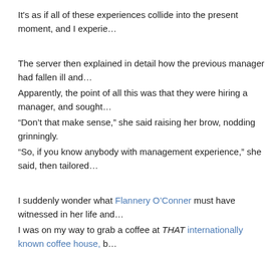It's as if all of these experiences collide into the present moment, and I experie…
The server then explained in detail how the previous manager had fallen ill and…
Apparently, the point of all this was that they were hiring a manager, and sought…
“Don’t that make sense,” she said raising her brow, nodding grinningly.
“So, if you know anybody with management experience,” she said, then tailored…
I suddenly wonder what Flannery O’Conner must have witnessed in her life and…
I was on my way to grab a coffee at THAT internationally known coffee house, b…
I recalled the bottomless offers here and knew I could get more value here than… propaganda Faux News like in most other public spaces here in Alabama.
Indeed, for just a few dollars more, I’ve got access to bottomless filtered coffee…
Besides…